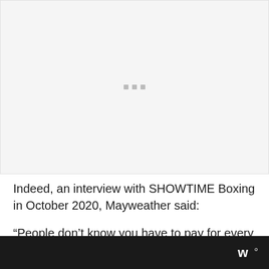[Figure (other): Light gray placeholder image area with three small gray square dots centered in the middle]
Indeed, an interview with SHOWTIME Boxing in October 2020, Mayweather said:
“People don’t know you have to pay for every belt you win… just me
[Figure (logo): Dark bottom bar with a logo on the right side showing 'w' symbol with superscript 'o']